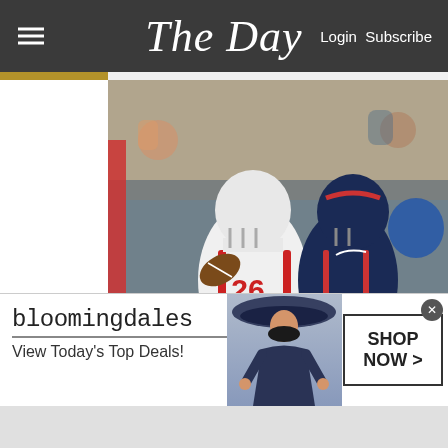The Day — Login Subscribe
[Figure (photo): Football action photo: New York Giants running back #26 Saquon Barkley carrying the ball, being tackled by a New England Patriots defender in dark jersey, both in helmets, game action shot]
Confident Barkley feels he can score on any play for the Giants
East Rutherford, N.J. — If there is anything markedly different in the New York Giants' offense since Brian Daboll took over, it's Saquon Barkley. Forget the hints of the Bills' offense that Daboll br
[Figure (screenshot): Bloomingdale's advertisement banner: logo text 'bloomingdales', tagline 'View Today's Top Deals!', image of woman in wide-brim hat, 'SHOP NOW >' button, with close X button]